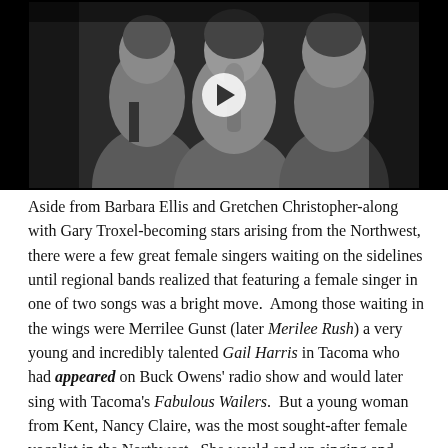[Figure (photo): Black and white photograph of musicians performing, with a play button overlay indicating a video. Shows two or three people near a microphone.]
Aside from Barbara Ellis and Gretchen Christopher-along with Gary Troxel-becoming stars arising from the Northwest, there were a few great female singers waiting on the sidelines until regional bands realized that featuring a female singer in one of two songs was a bright move.  Among those waiting in the wings were Merrilee Gunst (later Merilee Rush) a very young and incredibly talented Gail Harris in Tacoma who had appeared on Buck Owens' radio show and would later sing with Tacoma's Fabulous Wailers.  But a young woman from Kent, Nancy Claire, was the most sought-after female vocalist in the Northwest.  She would end up singing and recording with the cream of the crop of NW music, notably as a featured vocalist for The Dynamics, The Exotics, and maybe the most popular Seattle white R&B band of